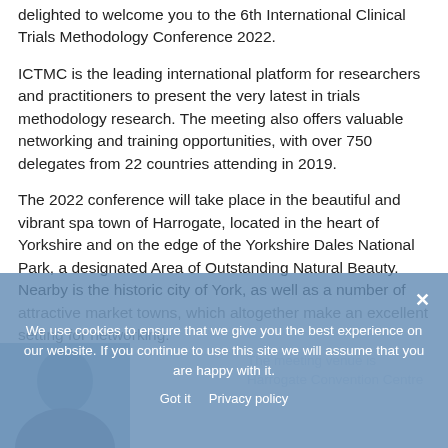delighted to welcome you to the 6th International Clinical Trials Methodology Conference 2022.
ICTMC is the leading international platform for researchers and practitioners to present the very latest in trials methodology research. The meeting also offers valuable networking and training opportunities, with over 750 delegates from 22 countries attending in 2019.
The 2022 conference will take place in the beautiful and vibrant spa town of Harrogate, located in the heart of Yorkshire and on the edge of the Yorkshire Dales National Park, a designated Area of Outstanding Natural Beauty. Nearby is the historic city of York, as well as a number of attractive market towns, which altogether make an ex[cellent setting for networking.]
[Figure (photo): Partial portrait photo of a person visible at bottom left corner]
The meeting venue is Harrogate Convention Centre
We use cookies to ensure that we give you the best experience on our website. If you continue to use this site we will assume that you are happy with it.